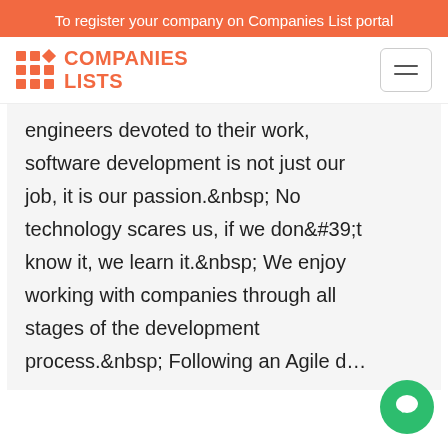To register your company on Companies List portal
[Figure (logo): Companies Lists logo with orange grid dots and diamond icon, orange text reading COMPANIES LISTS]
engineers devoted to their work, software development is not just our job, it is our passion.&nbsp; No technology scares us, if we don&#39;t know it, we learn it.&nbsp; We enjoy working with companies through all stages of the development process.&nbsp; Following an Agile d...